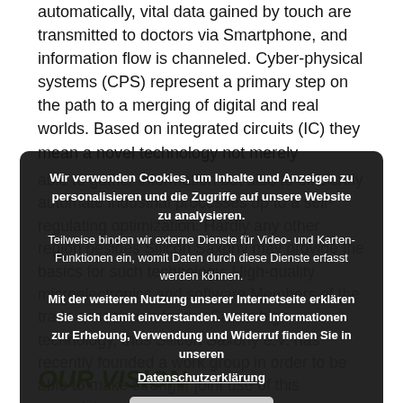automatically, vital data gained by touch are transmitted to doctors via Smartphone, and information flow is channeled. Cyber-physical systems (CPS) represent a primary step on the path to a merging of digital and real worlds. Based on integrated circuits (IC) they mean a novel technology not merely
able to gather information but also to efficiently automate industrial processes up to a self-regulating optimization. Hardly any other region besides Silicon Saxony may provide the basics for such technology: High-quality microelectronics and software Members of the trade association for the Saxon high technology, thus Silicon Saxony e.V. has recently founded a work group in order to be able to make stronger joint use of this potential.
[Figure (screenshot): Cookie consent dialog overlay with dark semi-transparent background. Text in German: 'Wir verwenden Cookies, um Inhalte und Anzeigen zu personalisieren und die Zugriffe auf unsere Website zu analysieren. Teilweise binden wir externe Dienste für Video- und Karten-Funktionen ein, womit Daten durch diese Dienste erfasst werden können. Mit der weiteren Nutzung unserer Internetseite erklären Sie sich damit einverstanden. Weitere Informationen zur Erhebung, Verwendung und Widerruf finden Sie in unseren Datenschutzerklärung' with an 'Akzeptieren' button.]
OUR VISION